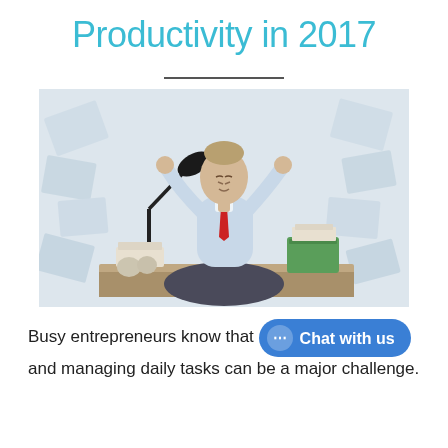Productivity in 2017
[Figure (photo): A businesswoman in a light blue shirt and red tie sitting cross-legged on an office desk in a yoga meditation pose, with papers flying around, a desk lamp, stacks of paper, and a green bin visible. The image conveys calm amid workplace chaos.]
Busy entrepreneurs know that [Chat with us] and managing daily tasks can be a major challenge.